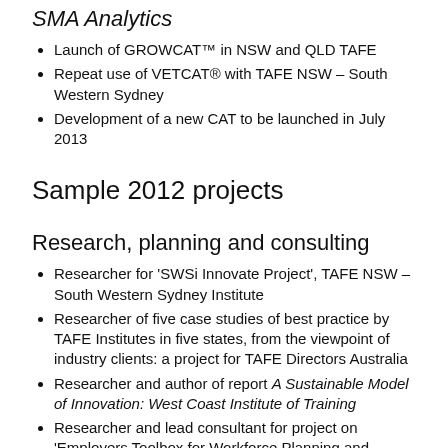SMA Analytics
Launch of GROWCAT™ in NSW and QLD TAFE
Repeat use of VETCAT® with TAFE NSW – South Western Sydney
Development of a new CAT to be launched in July 2013
Sample 2012 projects
Research, planning and consulting
Researcher for 'SWSi Innovate Project', TAFE NSW – South Western Sydney Institute
Researcher of five case studies of best practice by TAFE Institutes in five states, from the viewpoint of industry clients: a project for TAFE Directors Australia
Researcher and author of report A Sustainable Model of Innovation: West Coast Institute of Training
Researcher and lead consultant for project on 'Employers Toolbox for Workforce Planning and Development',